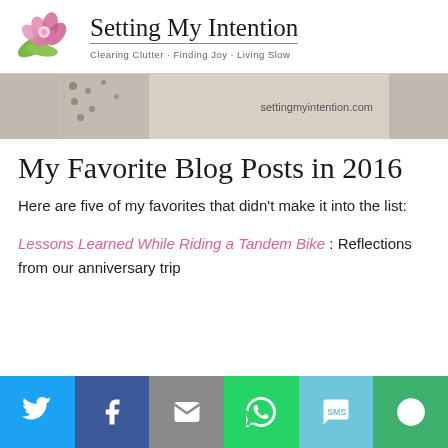Setting My Intention — Clearing Clutter · Finding Joy · Living Slow
[Figure (photo): Banner image showing polka-dot decorative items on a light wood surface with settingmyintention.com watermark]
My Favorite Blog Posts in 2016
Here are five of my favorites that didn't make it into the list:
Lessons Learned While Riding a Tandem Bike : Reflections from our anniversary trip
Share bar: Twitter, Facebook, Email, WhatsApp, SMS, More